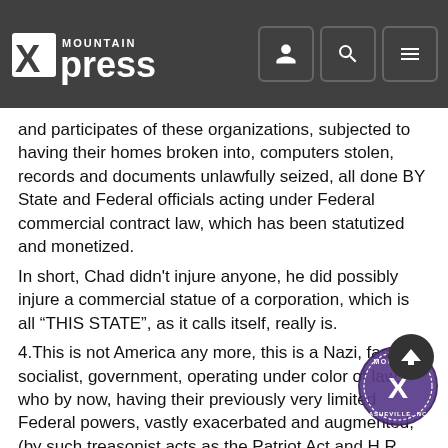Mountain Xpress
and participates of these organizations, subjected to having their homes broken into, computers stolen, records and documents unlawfully seized, all done BY State and Federal officials acting under Federal commercial contract law, which has been statutized and monetized.
In short, Chad didn't injure anyone, he did possibly injure a commercial statue of a corporation, which is all “THIS STATE”, as it calls itself, really is.
4.This is not America any more, this is a Nazi, fascist, socialist, government, operating under color of law, who by now, having their previously very limited Federal powers, vastly exacerbated and augmented, (by such treasonist acts as the Patriot Act and H.R. 1959) are now turning their evil little sights, on the hapless and defenseless, legally Illiterate, U.S. citizen sheep population, ratcheting up commercial statutory charges, with unconstitutional writs of pains and penalties, which